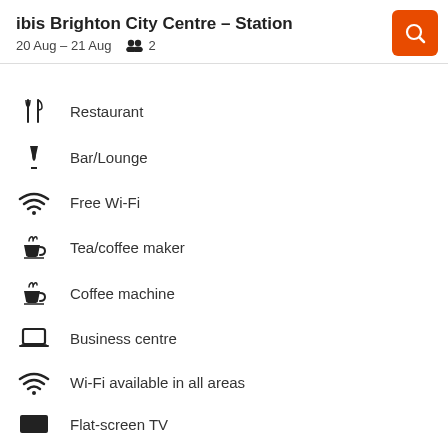ibis Brighton City Centre - Station
20 Aug – 21 Aug   2
Restaurant
Bar/Lounge
Free Wi-Fi
Tea/coffee maker
Coffee machine
Business centre
Wi-Fi available in all areas
Flat-screen TV
TV